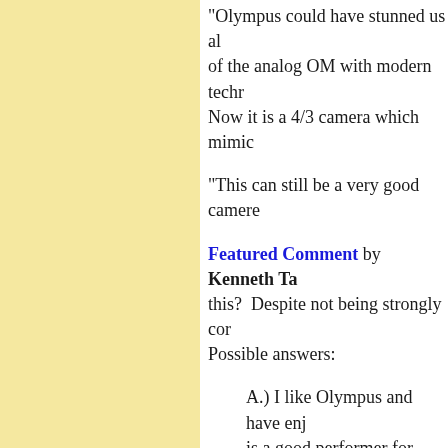'Olympus could have stunned us all... of the analog OM with modern technology... Now it is a 4/3 camera which mimic...
"This can still be a very good camera...
Featured Comment by Kenneth Ta... this? Despite not being strongly con... Possible answers:
A.) I like Olympus and have en... is a good performer for certain s...
B.) I was seduced by the E-M5'... find absolutely wonderful on m...
C.) I just like the design spirit r... about 'retro,' just about practical... in spades.
D.) I'm invested in the Micro 4/... of which are really quite good o...